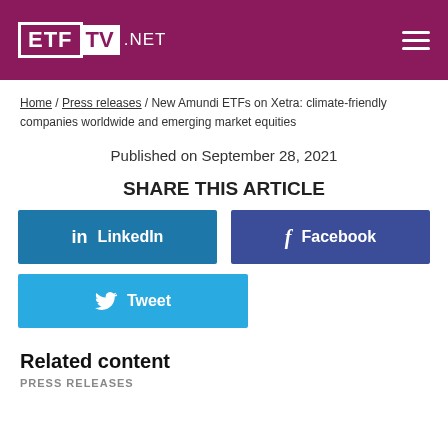ETF TV .NET
Home / Press releases / New Amundi ETFs on Xetra: climate-friendly companies worldwide and emerging market equities
Published on September 28, 2021
SHARE THIS ARTICLE
LinkedIn
Facebook
Tweet
Related content
PRESS RELEASES